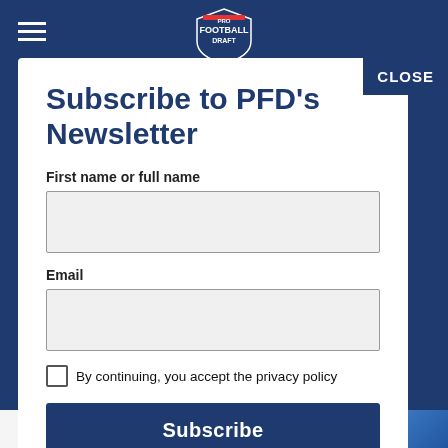Pro Football Draft – header with logo and hamburger menu
CLOSE
Subscribe to PFD's Newsletter
First name or full name
Email
By continuing, you accept the privacy policy
Subscribe